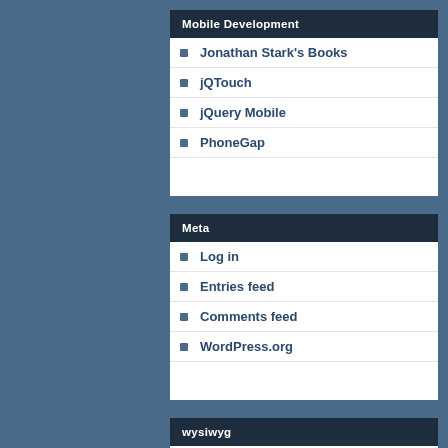Mobile Development
Jonathan Stark's Books
jQTouch
jQuery Mobile
PhoneGap
Meta
Log in
Entries feed
Comments feed
WordPress.org
wysiwyg
accessibility AJAX Animation anthropology ARIA assertion-